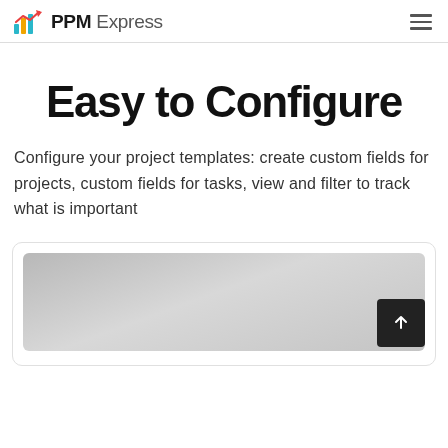PPM Express
Easy to Configure
Configure your project templates: create custom fields for projects, custom fields for tasks, view and filter to track what is important
[Figure (screenshot): A screenshot preview card showing a blurred/grey application interface with a dark back-to-top button with an upward arrow in the lower right corner.]